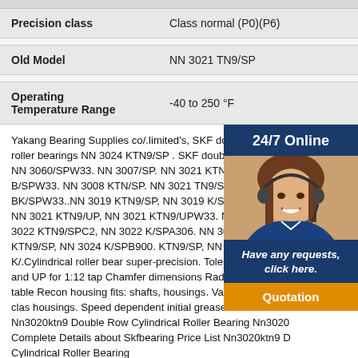| Property | Value |
| --- | --- |
| Precision class | Class normal (P0)(P6) |
| Old Model | NN 3021 TN9/SP |
| Operating Temperature Range | -40 to 250 °F |
Yakang Bearing Supplies co/.limited's, SKF double row Cylindrical roller bearings NN 3024 KTN9/SP . SKF double row Cylindrical roller NN 3060/SPW33. NN 3007/SP. NN 3021 KTN9/SP. NNU 4936 4964 B/SPW33. NN 3008 KTN/SP. NN 3021 TN9/SP. NN 3021 4964 BK/SPW33..NN 3019 KTN9/SP, NN 3019 K/SP. NN 3021 K/SP. NN 3021 KTN9/UP, NN 3021 KTN9/UPW33. NN NN 3022 K/SP. NN 3022 KTN9/SPC2, NN 3022 K/SPA306. NN 3022/SPB900. NN 3024 KTN9/SP, NN 3024 K/SPB900. KTN9/SP, NN 3026 K/SP. NN 3028 K/.Cylindrical roller bearings super-precision. Tolerances: SP, UP, SP and UP for 1:12 taper. Chamfer dimensions Radial internal clearance: table Recommended housing fits: shafts, housings. Values for ISO tolerance class housings. Speed dependent initial grease fill → Initial.Skfbearing Nn3020ktn9 Double Row Cylindrical Roller Bearing Nn3020 Complete Details about Skfbearing Price List Nn3020ktn9 Double Row Cylindrical Roller Bearing Nn3020ktn9/sp,Nn3020ktn9/sp,Nn3020ktn9/sp Crossed Roller Bearing 10015037,Bearing Nn3020ktn9 Nn 3006 Ktn/sp Nn
[Figure (photo): Customer service representative with headset, overlaid with '24/7 Online' text banner, 'Have any requests, click here.' text, and a 'Quotation' orange button.]